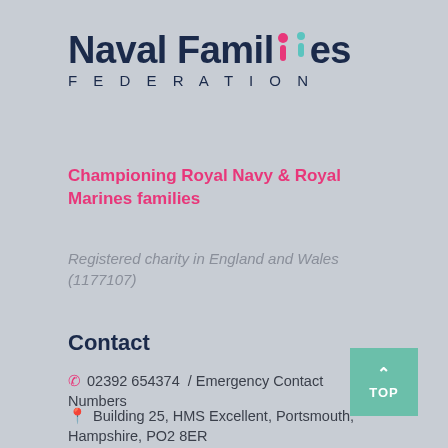[Figure (logo): Naval Families Federation logo with stylized people figures as the two i's in Families, in pink and teal colors, with FEDERATION in navy letter-spaced text below]
Championing Royal Navy & Royal Marines families
Registered charity in England and Wales (1177107)
Contact
02392 654374  / Emergency Contact Numbers
Building 25, HMS Excellent, Portsmouth, Hampshire, PO2 8ER